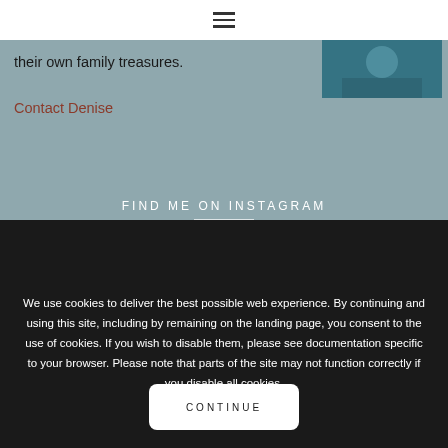≡ (hamburger menu icon)
their own family treasures.
Contact Denise
[Figure (photo): Small thumbnail photo, teal/dark tones, appears to show a person]
FIND ME ON INSTAGRAM
We use cookies to deliver the best possible web experience. By continuing and using this site, including by remaining on the landing page, you consent to the use of cookies. If you wish to disable them, please see documentation specific to your browser. Please note that parts of the site may not function correctly if you disable all cookies.
CONTINUE